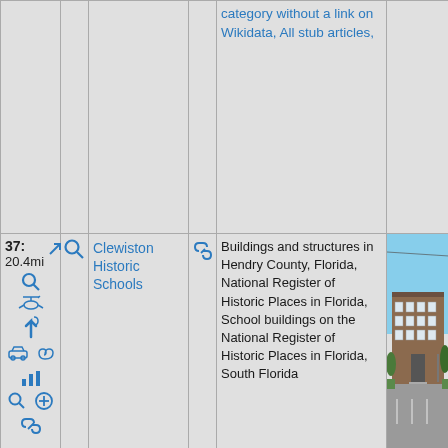|  |  |  |  | category without a link on Wikidata, All stub articles, |  |
| 37: 20.4mi | [icons] | Clewiston Historic Schools | [link] | Buildings and structures in Hendry County, Florida, National Register of Historic Places in Florida, School buildings on the National Register of Historic Places in Florida, South Florida | [photo] |
[Figure (photo): Photo of Clewiston Historic Schools, a two-story brick school building with parking lot in foreground, blue sky background]